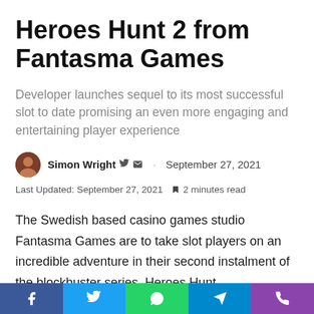Heroes Hunt 2 from Fantasma Games
Developer launches sequel to its most successful slot to date promising an even more engaging and entertaining player experience
Simon Wright · September 27, 2021
Last Updated: September 27, 2021  2 minutes read
The Swedish based casino games studio Fantasma Games are to take slot players on an incredible adventure in their second instalment of the blockbuster series, Heroes Hunt.
Heroes Hunt 2 Megaways sees players join three characters at the foot of a staircase located in an old castle where store
Facebook Twitter WhatsApp Telegram Phone